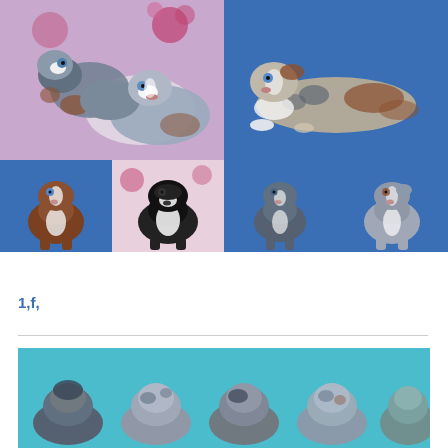[Figure (photo): Two merle Australian Shepherd puppies on a pink floral background, one looking forward with blue eyes]
[Figure (photo): A merle Australian Shepherd puppy lying on a blue background]
[Figure (photo): A brown and white Australian Shepherd puppy sitting on blue background]
[Figure (photo): A black and white Australian Shepherd puppy on pink floral background]
[Figure (photo): A dark merle puppy sitting on blue background]
[Figure (photo): A grey merle puppy sitting on blue background]
1,f,
[Figure (photo): Group of Australian Shepherd puppies lined up on teal/turquoise background, viewed from behind]